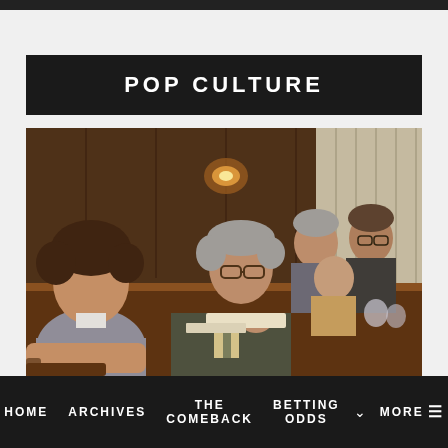POP CULTURE
[Figure (photo): A scene from what appears to be a movie, showing several people seated at a conference or meeting table in a wood-paneled room with warm lighting. On the left is a young man with curly hair wearing a gray sweater. In the center is an older man in a suit and glasses, writing on paper. Other people are visible in the background.]
HOME  ARCHIVES  THE COMEBACK  BETTING ODDS  MORE